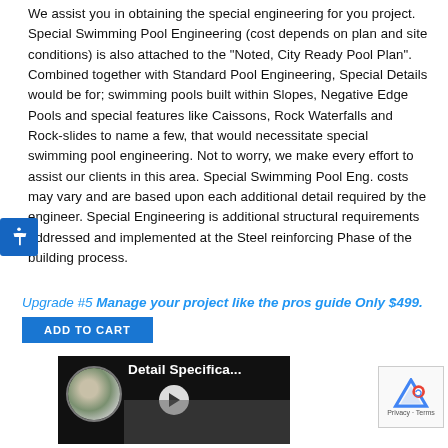We assist you in obtaining the special engineering for you project. Special Swimming Pool Engineering (cost depends on plan and site conditions) is also attached to the "Noted, City Ready Pool Plan". Combined together with Standard Pool Engineering, Special Details would be for; swimming pools built within Slopes, Negative Edge Pools and special features like Caissons, Rock Waterfalls and Rock-slides to name a few, that would necessitate special swimming pool engineering. Not to worry, we make every effort to assist our clients in this area. Special Swimming Pool Eng. costs may vary and are based upon each additional detail required by the engineer. Special Engineering is additional structural requirements addressed and implemented at the Steel reinforcing Phase of the building process.
Upgrade #5 Manage your project like the pros guide Only $499.
ADD TO CART
[Figure (screenshot): Video thumbnail showing 'Detail Specifica...' with a play button, circular pool image on the left, and dark background]
[Figure (other): reCAPTCHA widget box showing Google reCAPTCHA logo with Privacy and Terms links]